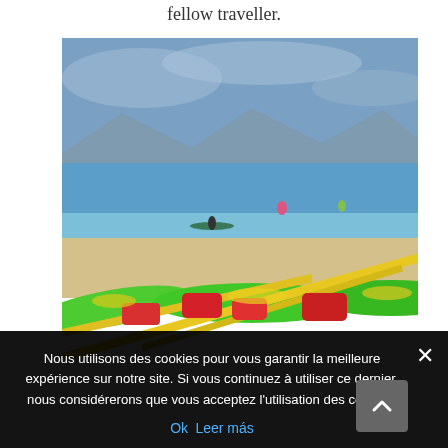fellow traveller.
[Figure (photo): Photo of green and yellow kayaks on a sandy beach with a calm blue sea, mountains in the background, and a kayaker paddling in the water. Red life vests are visible on the kayaks.]
Nous utilisons des cookies pour vous garantir la meilleure expérience sur notre site. Si vous continuez à utiliser ce dernier, nous considérerons que vous acceptez l'utilisation des cookies.
Ok  Leer más